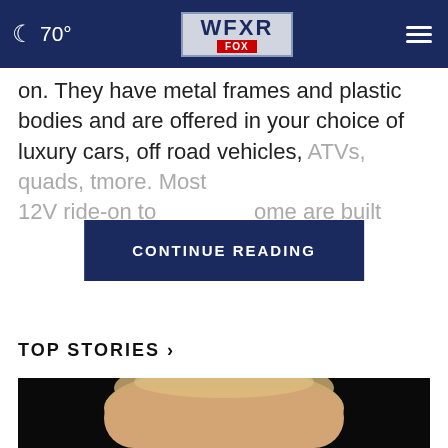70° WFXR FOX
on. They have metal frames and plastic bodies and are offered in your choice of luxury cars, off road vehicles, ATVs, quads, t[CONTINUE READING]more. Most 12V ride-on to[CONTINUE READING]ome are built
TOP STORIES ›
[Figure (photo): Close-up photograph of a man's face (Donald Trump) against a dark background, shot from slightly below, showing his blonde hair and open mouth as if speaking.]